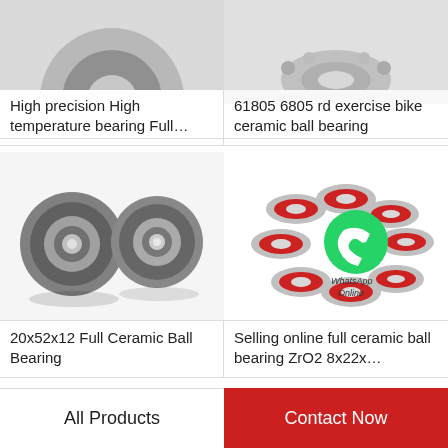[Figure (photo): High precision high temperature bearing product image (partial, top cropped)]
High precision High temperature bearing Full…
[Figure (photo): 61805 6805 rd exercise bike ceramic ball bearing product image (partial, top cropped)]
61805 6805 rd exercise bike ceramic ball bearing
[Figure (photo): Two gray/black Full Ceramic Ball Bearings 20x52x12]
20x52x12 Full Ceramic Ball Bearing
[Figure (photo): Multiple red ceramic ball bearings with WhatsApp Online logo overlay, ZrO2 8x22x…]
Selling online full ceramic ball bearing ZrO2 8x22x…
All Products
Contact Now